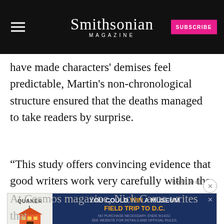Smithsonian MAGAZINE
have made characters' demises feel predictable, Martin's non-chronological structure ensured that the deaths managed to take readers by surprise.
“This study offers convincing evidence that good writers work very carefully within the psychological limits of the reader,” says co-author Robin Dunbar, an evolutionary psychologist at Oxford University, in the state
[Figure (other): Quaker Museum Day advertisement banner: YOU COULD WIN A MUSEUM FIELD TRIP TO D.C. LEARN MORE]
At Cosmos magazine, Nick Carne writes that